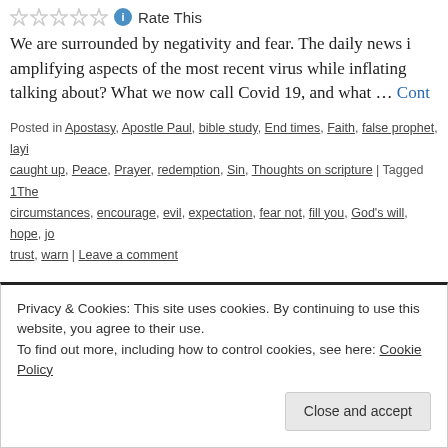Rate This
We are surrounded by negativity and fear. The daily news is amplifying aspects of the most recent virus while inflating talking about? What we now call Covid 19, and what … Cont
Posted in Apostasy, Apostle Paul, bible study, End times, Faith, false prophet, laying caught up, Peace, Prayer, redemption, Sin, Thoughts on scripture | Tagged 1The circumstances, encourage, evil, expectation, fear not, fill you, God's will, hope, jo trust, warn | Leave a comment
Older posts
Privacy & Cookies: This site uses cookies. By continuing to use this website, you agree to their use.
To find out more, including how to control cookies, see here: Cookie Policy
Close and accept